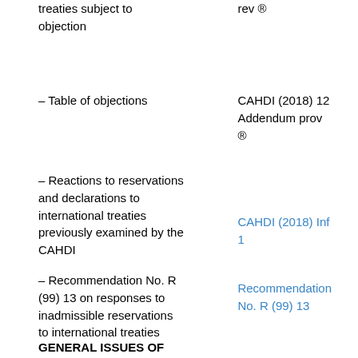treaties subject to objection
rev ®
- Table of objections
CAHDI (2018) 12 Addendum prov ®
- Reactions to reservations and declarations to international treaties previously examined by the CAHDI
CAHDI (2018) Inf 1
- Recommendation No. R (99) 13 on responses to inadmissible reservations to international treaties
Recommendation No. R (99) 13
GENERAL ISSUES OF